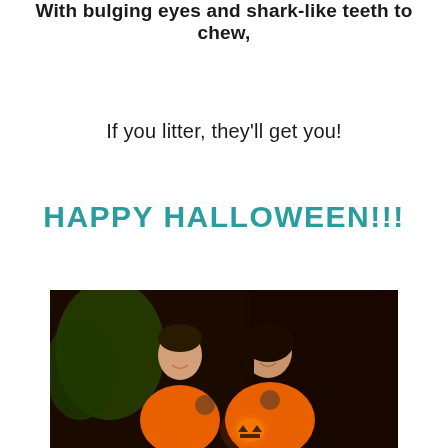With bulging eyes and shark-like teeth to chew,
If you litter, they'll get you!
HAPPY HALLOWEEN!!!
[Figure (photo): Two women wearing orange Halloween t-shirts, one holding a lit jack-o-lantern pumpkin, standing outdoors at night]